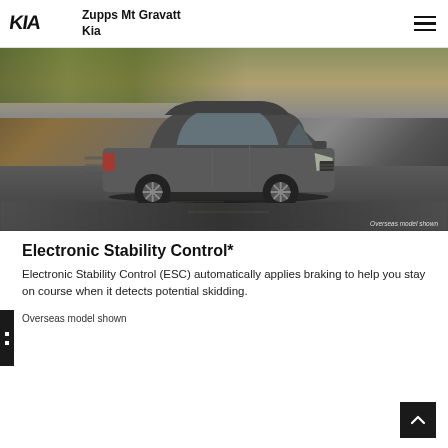Zupps Mt Gravatt Kia
[Figure (photo): Kia SUV (Sorento) driving on a road, motion-blurred background, dark grey vehicle, side-front angle view. Caption: Overseas model shown.]
Overseas model shown
Electronic Stability Control*
Electronic Stability Control (ESC) automatically applies braking to help you stay on course when it detects potential skidding.
Overseas model shown